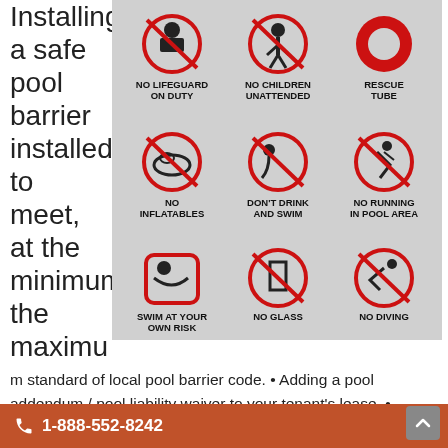Installing a safe pool barrier installed to meet, at the minimum, the maximum standard of local pool barrier code.
[Figure (photo): Pool safety sign showing 9 rules: NO LIFEGUARD ON DUTY, NO CHILDREN UNATTENDED, RESCUE TUBE, NO INFLATABLES, DON'T DRINK AND SWIM, NO RUNNING IN POOL AREA, SWIM AT YOUR OWN RISK, NO GLASS, NO DIVING]
m standard of local pool barrier code. • Adding a pool addendum / pool liability waiver to your tenant's lease. • Posting pool safety notices on doors leading to the backyard and pool, and/or on a notice board nearby. • Installing a designated hook, leading to the backyard,
📞 1-888-552-8242